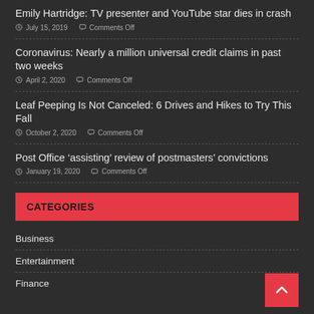Emily Hartridge: TV presenter and YouTube star dies in crash
July 15, 2019  Comments Off
Coronavirus: Nearly a million universal credit claims in past two weeks
April 2, 2020  Comments Off
Leaf Peeping Is Not Canceled: 6 Drives and Hikes to Try This Fall
October 2, 2020  Comments Off
Post Office ‘assisting’ review of postmasters’ convictions
January 19, 2020  Comments Off
CATEGORIES
Business
Entertainment
Finance